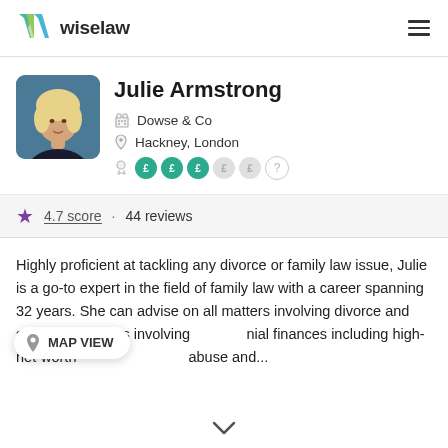wiselaw
[Figure (photo): Profile photo of Julie Armstrong, woman with blonde hair]
Julie Armstrong
Dowse & Co
Hackney, London
£££££ (fee indicators, 3 active, 2 inactive, 1 unknown)
4.7 score · 44 reviews
Highly proficient at tackling any divorce or family law issue, Julie is a go-to expert in the field of family law with a career spanning 32 years. She can advise on all matters involving divorce and separation, cases involving matrimonial finances including high-net-worth cases, domestic abuse and...